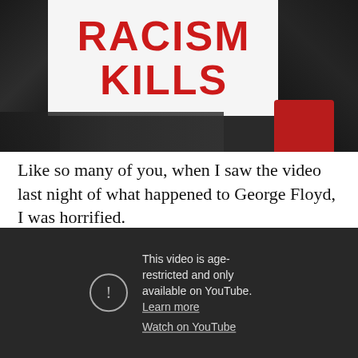[Figure (photo): Protest photo showing a person holding a white sign with red text reading 'RACISM KILLS'. People are lying on the ground in the background. The holder wears dark gloves and a red sleeve is visible on the right.]
Like so many of you, when I saw the video last night of what happened to George Floyd, I was horrified.
[Figure (screenshot): Embedded YouTube video player showing an age-restriction warning. Dark background with a circle exclamation icon on the left. Text reads: 'This video is age-restricted and only available on YouTube. Learn more' and 'Watch on YouTube'.]